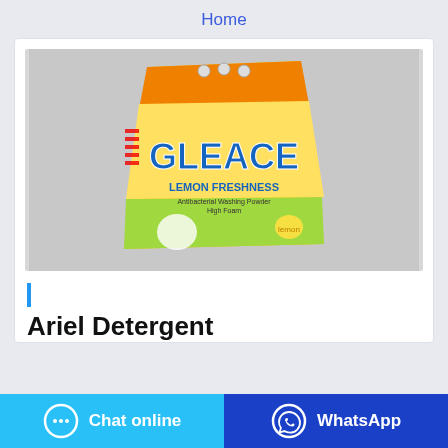Home
[Figure (photo): A bag of Gleace Lemon Freshness antibacterial washing powder (high foam) — bright yellow/orange packaging with blue text, displayed against a grey background.]
Ariel Detergent
Chat online
WhatsApp